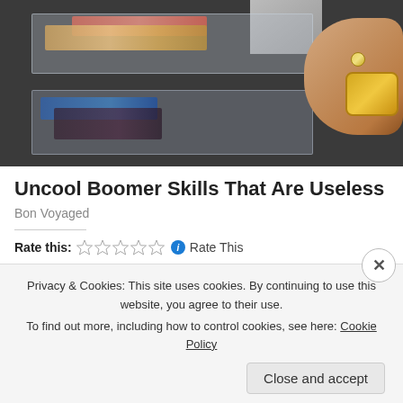[Figure (photo): Photo of a black travel organizer bag with clear plastic pockets showing rolled banknotes (red and gold/pink currency) and other items. A hand with a gold watch and ring is visible on the right side holding or touching the bag.]
Uncool Boomer Skills That Are Useless
Bon Voyaged
Rate this: ☆☆☆☆☆ ℹ Rate This
Share this:
Privacy & Cookies: This site uses cookies. By continuing to use this website, you agree to their use.
To find out more, including how to control cookies, see here: Cookie Policy
Close and accept